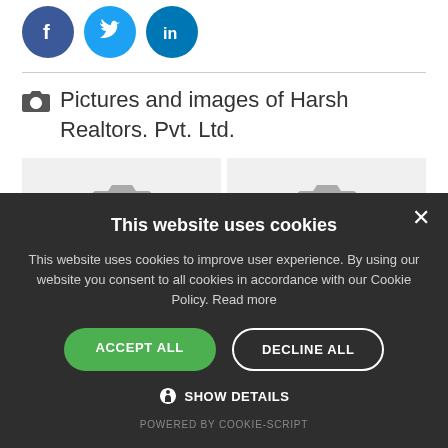[Figure (illustration): Social media share icons: Facebook (blue circle with f), Twitter (light blue circle with bird), LinkedIn (blue circle with in)]
📷 Pictures and images of Harsh Realtors. Pvt. Ltd.
[Figure (screenshot): Two image placeholder tiles with camera icons indicating no images loaded yet]
This website uses cookies
This website uses cookies to improve user experience. By using our website you consent to all cookies in accordance with our Cookie Policy. Read more
ACCEPT ALL
DECLINE ALL
⚙ SHOW DETAILS
POWERED BY COOKIE-SCRIPT